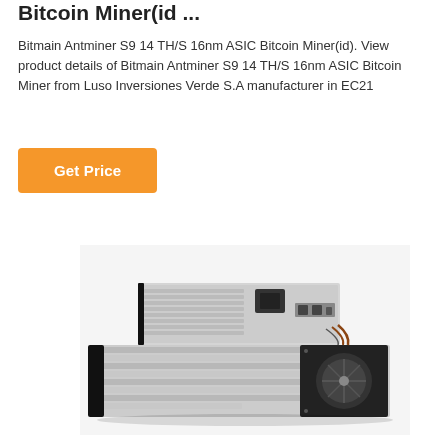Bitcoin Miner(id ...
Bitmain Antminer S9 14 TH/S 16nm ASIC Bitcoin Miner(id). View product details of Bitmain Antminer S9 14 TH/S 16nm ASIC Bitcoin Miner from Luso Inversiones Verde S.A manufacturer in EC21
[Figure (other): Button labeled Get Price with orange background]
[Figure (photo): Photo of Bitmain Antminer S9 14 TH/S 16nm ASIC Bitcoin Miner hardware device — silver/grey rack-mount unit with fans, power supply, and ventilation grills]